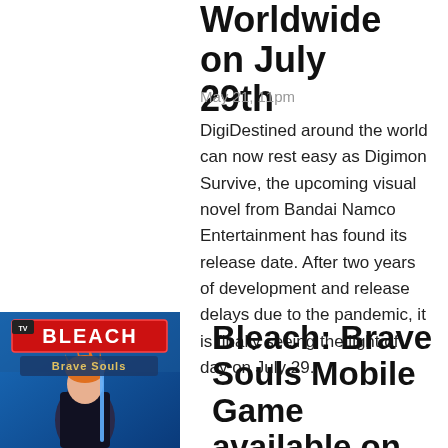Worldwide on July 29th
May 21, 11pm
DigiDestined around the world can now rest easy as Digimon Survive, the upcoming visual novel from Bandai Namco Entertainment has found its release date. After two years of development and release delays due to the pandemic, it is finally seeing the light of day on July 29.
[Figure (illustration): Bleach: Brave Souls game cover art showing anime character with red and blue logo and 'Brave Souls' text]
Bleach: Brave Souls Mobile Game available on PS4